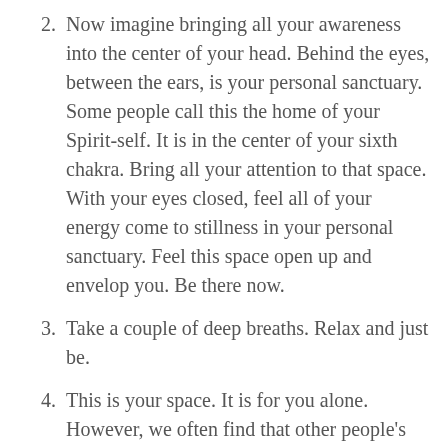2. Now imagine bringing all your awareness into the center of your head. Behind the eyes, between the ears, is your personal sanctuary. Some people call this the home of your Spirit-self. It is in the center of your sixth chakra. Bring all your attention to that space. With your eyes closed, feel all of your energy come to stillness in your personal sanctuary. Feel this space open up and envelop you. Be there now.
3. Take a couple of deep breaths. Relax and just be.
4. This is your space. It is for you alone. However, we often find that other people's thoughts intrude into our quiet sanctuary. If you are thinking of yesterday's conversation with someone or a phone call you will be making in the